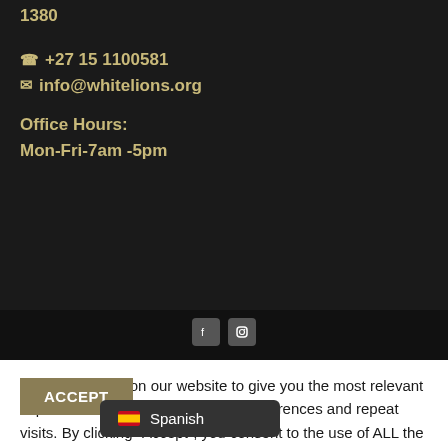1380
☎ +27 15 1100581
✉ info@whitelions.org
Office Hours:
Mon-Fri-7am -5pm
[Figure (screenshot): Dark footer bar with partially visible social media icons]
We use cookies on our website to give you the most relevant experience by remembering your preferences and repeat visits. By clicking "Accept", you consent to the use of ALL the cookies.
ACCEPT
Spanish